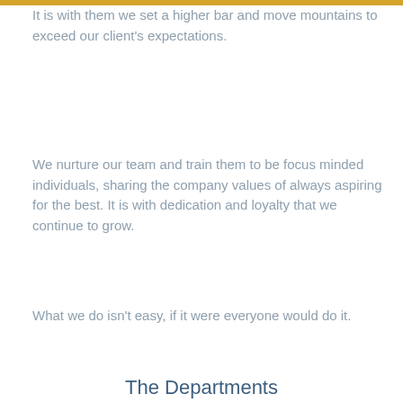It is with them we set a higher bar and move mountains to exceed our client's expectations.
We nurture our team and train them to be focus minded individuals, sharing the company values of always aspiring for the best. It is with dedication and loyalty that we continue to grow.
What we do isn't easy, if it were everyone would do it.
The Departments